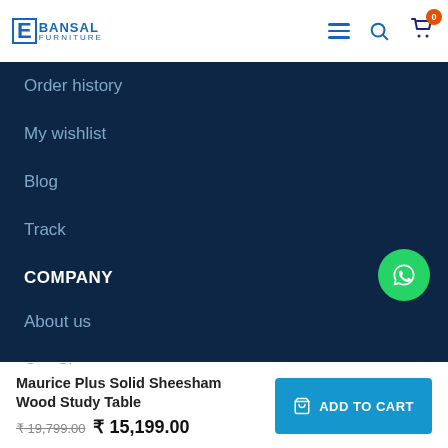[Figure (logo): E Bansal Furniture logo with blue E letter box and brand name]
Order history
My wishlist
Blog
Track
COMPANY
About us
Our Showrooms
Contact Us
Privacy Policy
Maurice Plus Solid Sheesham Wood Study Table
₹ 19,799.00 ₹ 15,199.00
ADD TO CART